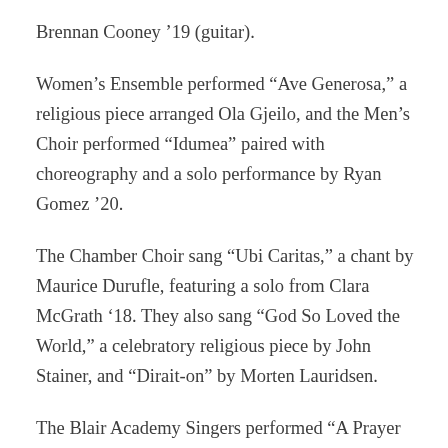Brennan Cooney '19 (guitar).
Women's Ensemble performed “Ave Generosa,” a religious piece arranged Ola Gjeilo, and the Men’s Choir performed “Idumea” paired with choreography and a solo performance by Ryan Gomez ’20.
The Chamber Choir sang “Ubi Caritas,” a chant by Maurice Durufle, featuring a solo from Clara McGrath ’18. They also sang “God So Loved the World,” a celebratory religious piece by John Stainer, and “Dirait-on” by Morten Lauridsen.
The Blair Academy Singers performed “A Prayer for Cardinal Newman,” which was workshoped with the composer, James Whitbourn; “The Nightingale,” a